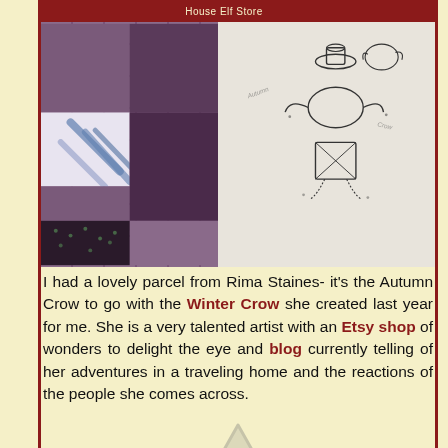House Elf Store
[Figure (photo): Photograph of a quilt/fabric artwork showing embroidery on white fabric with a crow or bird character design, alongside patterned purple and dark fabric patches]
I had a lovely parcel from Rima Staines- it's the Autumn Crow to go with the Winter Crow she created last year for me. She is a very talented artist with an Etsy shop of wonders to delight the eye and blog currently telling of her adventures in a traveling home and the reactions of the people she comes across.
[Figure (illustration): Warning triangle icon with exclamation mark, grayed out]